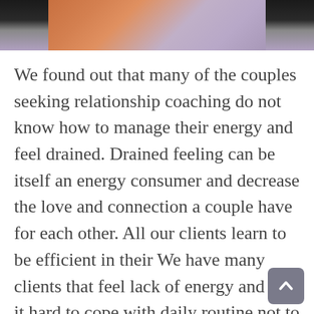[Figure (photo): Partial photo of two people, cropped at top of page, showing skin tones and a purple/lavender background]
We found out that many of the couples seeking relationship coaching do not know how to manage their energy and feel drained. Drained feeling can be itself an energy consumer and decrease the love and connection a couple have for each other. All our clients learn to be efficient in their We have many clients that feel lack of energy and find it hard to cope with daily routine not to mention pursue their dreams and wants. Many of them report an increase in energy due to better energy management.